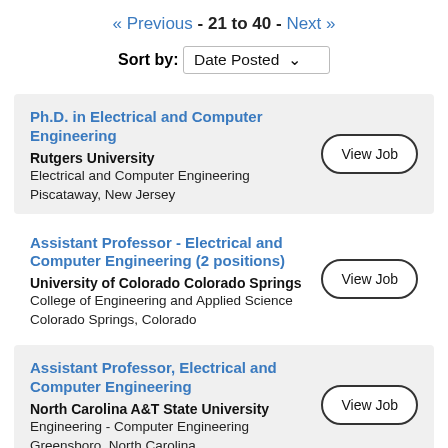« Previous - 21 to 40 - Next »
Sort by: Date Posted ˅
Ph.D. in Electrical and Computer Engineering
Rutgers University
Electrical and Computer Engineering
Piscataway, New Jersey
Assistant Professor - Electrical and Computer Engineering (2 positions)
University of Colorado Colorado Springs
College of Engineering and Applied Science
Colorado Springs, Colorado
Assistant Professor, Electrical and Computer Engineering
North Carolina A&T State University
Engineering - Computer Engineering
Greensboro, North Carolina